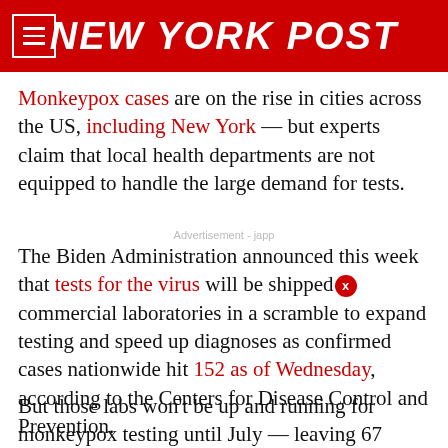NEW YORK POST
Monkeypox cases are on the rise in cities across the US, including New York — but experts claim that local health departments are not equipped to handle the large demand for tests.
The Biden Administration announced this week that tests for the virus will be shipped to commercial laboratories in a scramble to expand testing and speed up diagnoses as confirmed cases nationwide hit 152 as of Wednesday, according to the Centers for Disease Control and Prevention.
But those labs won't be up and running for monkeypox testing until July — leaving 67 laboratories in 48 states with a bandwidth of just 8,000 tests nationwide per